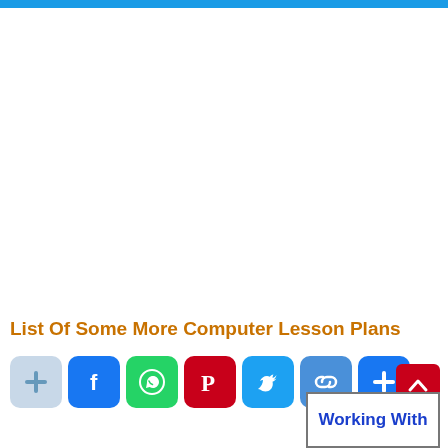List Of Some More Computer Lesson Plans
[Figure (infographic): Social share buttons row: add/plus (gray), Facebook (blue), WhatsApp (green), Pinterest (red), Twitter (blue), link (blue-gray), add/plus (blue). Also a red scroll-to-top button and a 'Working With' navigation box.]